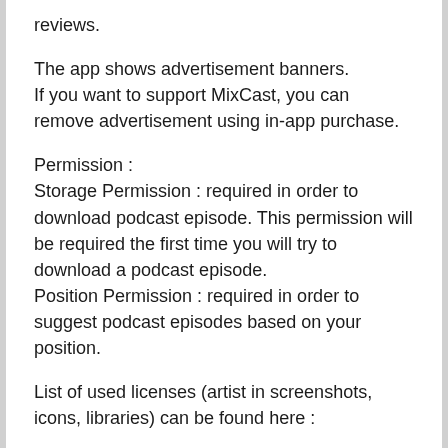reviews.
The app shows advertisement banners. If you want to support MixCast, you can remove advertisement using in-app purchase.
Permission :
Storage Permission : required in order to download podcast episode. This permission will be required the first time you will try to download a podcast episode.
Position Permission : required in order to suggest podcast episodes based on your position.
List of used licenses (artist in screenshots, icons, libraries) can be found here :